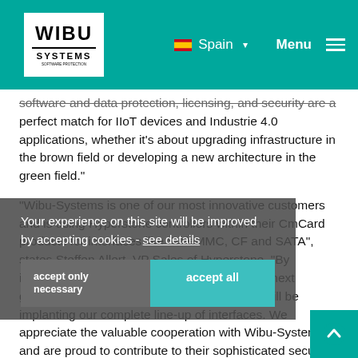WIBU SYSTEMS | Spain | Menu
software and data protection, licensing, and security are a perfect match for IIoT devices and Industrie 4.0 applications, whether it's about upgrading infrastructure in the brown field or developing a new architecture in the green field."
"Wibu-Systems is one of our most innovative customers and is using Hyperstone controllers within their CmCard products for interfaces like SD/eMMC, CF and SATA", states Steffen Allert, VP Sales of Hyperstone. "By integrating our new USB controller U9 in their next generation of USB dongles CmStick/M, they will be implanting our complete line-up of interfaces. We appreciate the valuable cooperation with Wibu-Systems and are proud to contribute to their sophisticated security solutions."
Your experience on this site will be improved by accepting cookies - see details
accept only necessary
accept all